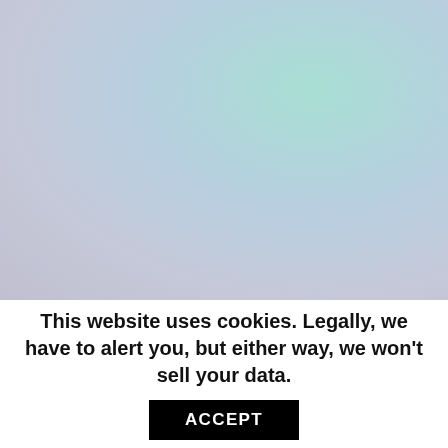[Figure (illustration): Soft pastel gradient background blending light blue, teal, and lavender tones]
This website uses cookies. Legally, we have to alert you, but either way, we won't sell your data.
ACCEPT